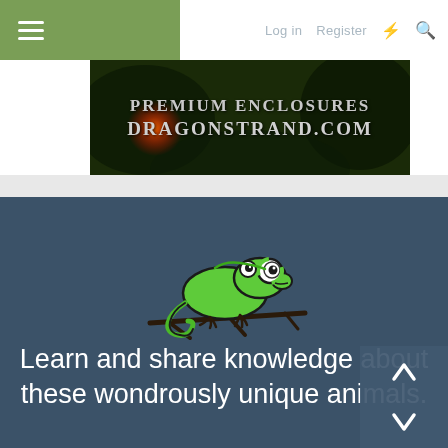≡  Log in  Register  ⚡  🔍
[Figure (screenshot): Advertisement banner for dragonstrand.com showing 'PREMIUM ENCLOSURES DRAGONSTRAND.COM' text on a dark jungle background with glowing red/orange light]
[Figure (illustration): Cartoon chameleon illustration — green chameleon with large eyes perched on a branch, curled tail]
Learn and share knowledge about these wondrously unique animals.